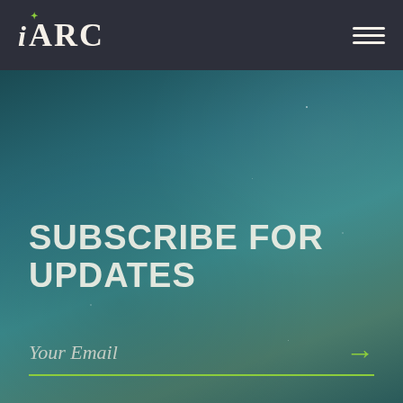iARC logo and navigation
SUBSCRIBE FOR UPDATES
Your Email